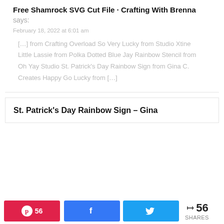Free Shamrock SVG Cut File · Crafting With Brenna says:
February 18, 2022 at 6:01 am
[…] from Crafting Overload So Very Lucky from Studio Xtine Little Lassie from Polka Dotted Blue Jay Rainbow Stencil from Oh Yay Studio St. Patrick's Day Rainbow Sign from Gina C. Creates Happy Go Lucky from […]
St. Patrick's Day Rainbow Sign – Gina
56 SHARES